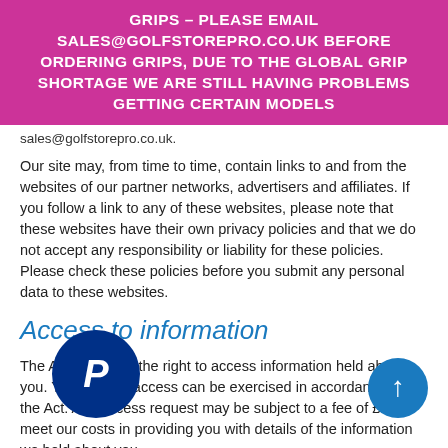GRIPS – PLEASE EMAIL SALES@GOLFSTOREPRO.CO.UK BEFORE ORDERING GRIPS, DUE TO THE GLOBAL GRIP SHORTAGE WE ARE STILL HAVING PROBLEMS GETTING CERTAIN MODELS
sales@golfstorepro.co.uk.
Our site may, from time to time, contain links to and from the websites of our partner networks, advertisers and affiliates. If you follow a link to any of these websites, please note that these websites have their own privacy policies and that we do not accept any responsibility or liability for these policies. Please check these policies before you submit any personal data to these websites.
Access to information
The Act gives you the right to access information held about you. Your right of access can be exercised in accordance with the Act. Any access request may be subject to a fee of £10 to meet our costs in providing you with details of the information we hold about you.
Changes to our Privacy policy